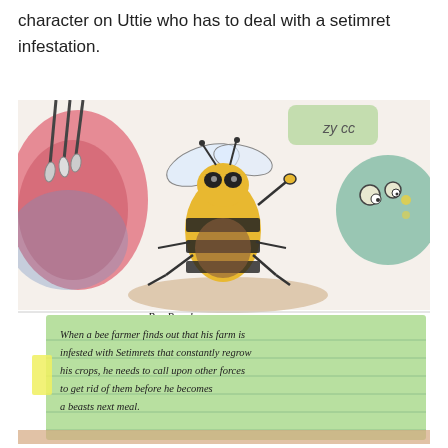character on Uttie who has to deal with a setimret infestation.
[Figure (photo): A hand-drawn illustration showing fantasy creatures including a bee-like humanoid creature labeled 'Bee People (Uttie)' with yellow and black coloring, wings, and insect legs, alongside other creature sketches on a watercolor background. Below the illustration is a green lined notecard with handwritten text reading: 'When a bee farmer finds out that his farm is infested with Setimrets that constantly regrow his crops, he needs to call upon other forces to get rid of them before he becomes a beasts next meal.']